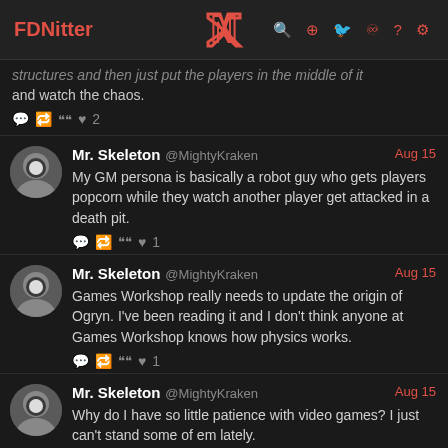FDNitter
structures and then just put the players in the middle of it and watch the chaos.
♥ 2
Mr. Skeleton @MightyKraken Aug 15
My GM persona is basically a robot guy who gets players popcorn while they watch another player get attacked in a death pit.
♥ 1
Mr. Skeleton @MightyKraken Aug 15
Games Workshop really needs to update the origin of Ogryn. I've been reading it and I don't think anyone at Games Workshop knows how physics works.
♥ 1
Mr. Skeleton @MightyKraken Aug 15
Why do I have so little patience with video games? I just can't stand some of em lately.
1 ♥ 1